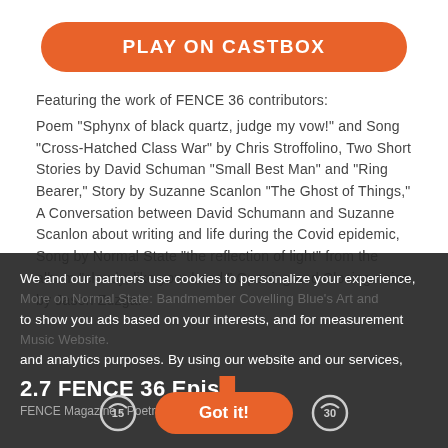[Figure (other): Orange rounded button labeled PLAY ON CASTBOX]
Featuring the work of FENCE 36 contributors:
Poem "Sphynx of black quartz, judge my vow!" and Song "Cross-Hatched Class War" by Chris Stroffolino, Two Short Stories by David Schuman "Small Best Man" and "Ring Bearer," Story by Suzanne Scanlon "The Ghost of Things," A Conversation between David Schumann and Suzanne Scanlon about writing and life during the Covid epidemic,  Song by Normal State "the reflection of light" from the album "cloudy, like your head." Opening and Closing noise by Jason Zuzga.
We and our partners use cookies to personalize your experience, to show you ads based on your interests, and for measurement and analytics purposes. By using our website and our services,
More on Normal State: Bandmember Covelling Blue's Art and Music Website.
2.7 FENCE 36 Epis...
FENCE Magazine - Poetry Hi...
[Figure (other): Orange rounded Got it! button with replay icons showing 15 and 30 second skip controls]